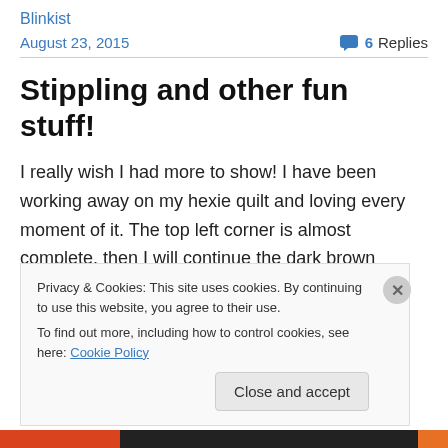Blinkist
August 23, 2015    💬 6 Replies
Stippling and other fun stuff!
I really wish I had more to show!  I have been working away on my hexie quilt and loving every moment of it.  The top left corner is almost complete, then I will continue the dark brown border and then…well who knows?  This quilt seems to be designing itself!  My only goal was to use up
Privacy & Cookies: This site uses cookies. By continuing to use this website, you agree to their use.
To find out more, including how to control cookies, see here: Cookie Policy
Close and accept